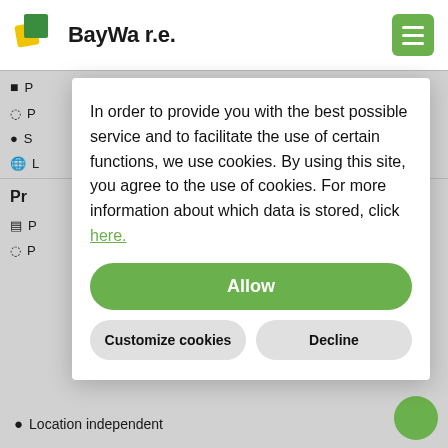[Figure (logo): BayWa r.e. company logo with green and yellow leaf shapes and bold text]
In order to provide you with the best possible service and to facilitate the use of certain functions, we use cookies. By using this site, you agree to the use of cookies. For more information about which data is stored, click here.
Allow
Customize cookies
Decline
Location independent